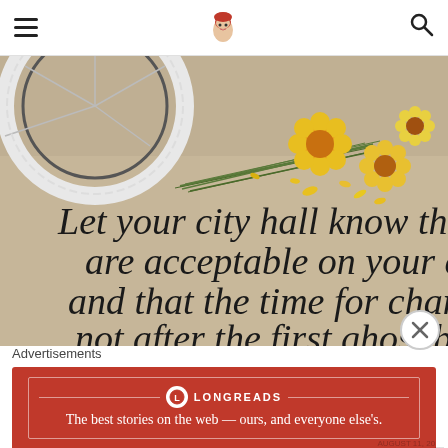Navigation menu and search for Longreads website
[Figure (photo): Photo of yellow flowers (daisies/marigolds) lying on pavement next to a bicycle wheel, with handwritten chalk text reading 'Let your city hall know that are acceptable on your city and that the time for chang not after the first ghost bik']
Advertisements
[Figure (infographic): Longreads advertisement banner in red with text: The best stories on the web — ours, and everyone else's.]